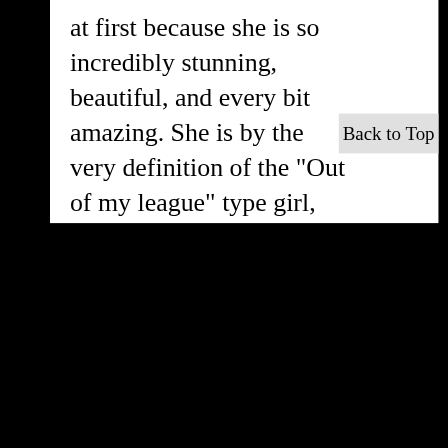at first because she is so incredibly stunning, beautiful, and every bit amazing. She is by the very definition of the "Out of my league" type girl, but she talks and treats you like a normal person and makes you feel wanted without being intimated. To paraphrase another reviewer here, he says her pictures don't do her justice, and how breathtakingly beautiful she is in person, and he couldn't be any more right. I was still quite nervous about everything
Back to Top